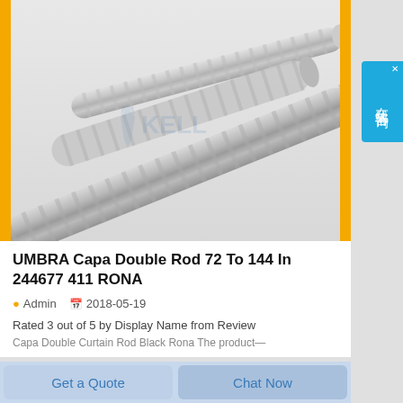[Figure (photo): Two corrugated metal rods/conduits (UMBRA Capa Double Rod) shown diagonally on a white background, with a partially visible watermark logo reading KELL...]
UMBRA Capa Double Rod 72 To 144 In 244677 411 RONA
Admin   2018-05-19
Rated 3 out of 5 by Display Name from Review Capa Double Curtain Rod Black Rona The product—
Get a Quote
Chat Now